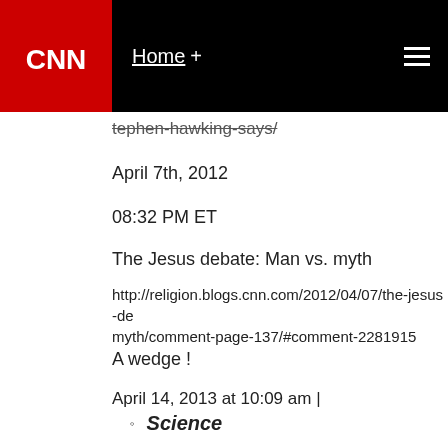CNN navigation bar with Home + link and hamburger menu
tephen-hawking-says/
April 7th, 2012
08:32 PM ET
The Jesus debate: Man vs. myth
http://religion.blogs.cnn.com/2012/04/07/the-jesus-de...myth/comment-page-137/#comment-2281915
A wedge !
April 14, 2013 at 10:09 am |
Science
does Joel have One ?
Human Y Chromosome Much Older Than Previou...
Mar. 4, 2013 — The discovery and analysis of an American Y chromosome pushes back the time...